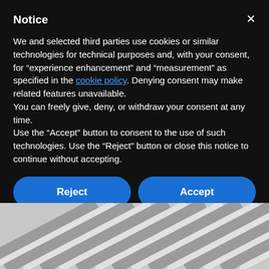Notice
We and selected third parties use cookies or similar technologies for technical purposes and, with your consent, for “experience enhancement” and “measurement” as specified in the cookie policy. Denying consent may make related features unavailable.
You can freely give, deny, or withdraw your consent at any time.
Use the “Accept” button to consent to the use of such technologies. Use the “Reject” button or close this notice to continue without accepting.
Reject
Accept
Learn more and customize
[Figure (photo): Close-up black and white photo of diagonal ridged lines or grooves, likely a textured surface such as sand dunes or corrugated material.]